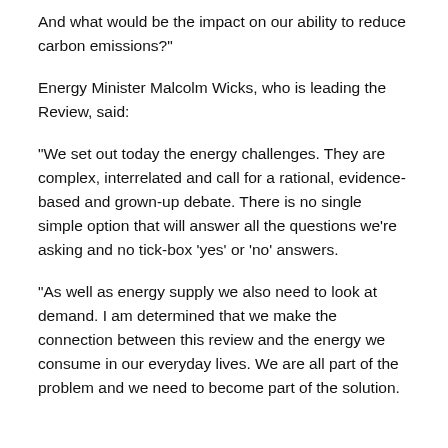And what would be the impact on our ability to reduce carbon emissions?"
Energy Minister Malcolm Wicks, who is leading the Review, said:
"We set out today the energy challenges. They are complex, interrelated and call for a rational, evidence-based and grown-up debate. There is no single simple option that will answer all the questions we're asking and no tick-box 'yes' or 'no' answers.
"As well as energy supply we also need to look at demand. I am determined that we make the connection between this review and the energy we consume in our everyday lives. We are all part of the problem and we need to become part of the solution.